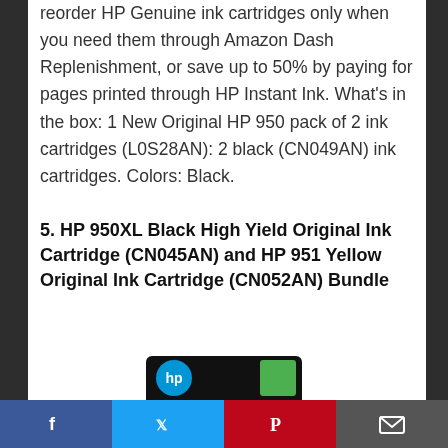reorder HP Genuine ink cartridges only when you need them through Amazon Dash Replenishment, or save up to 50% by paying for pages printed through HP Instant Ink. What's in the box: 1 New Original HP 950 pack of 2 ink cartridges (L0S28AN): 2 black (CN049AN) ink cartridges. Colors: Black.
5. HP 950XL Black High Yield Original Ink Cartridge (CN045AN) and HP 951 Yellow Original Ink Cartridge (CN052AN) Bundle
[Figure (photo): Partial view of HP 950XL ink cartridge product packaging — black box with HP logo circle and green label, cropped at bottom of page]